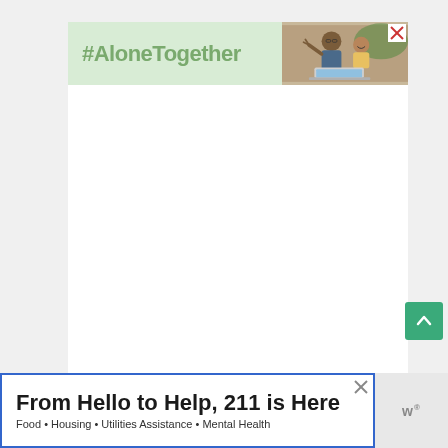[Figure (screenshot): #AloneTogether banner advertisement with green left panel showing hashtag text and right panel showing photo of man and child waving at laptop]
[Figure (screenshot): Large white empty content area representing a webpage body]
[Figure (other): Green scroll-to-top arrow button]
From Hello to Help, 211 is Here
Food • Housing • Utilities Assistance • Mental Health